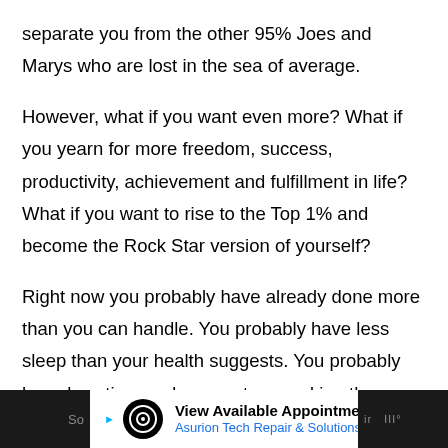separate you from the other 95% Joes and Marys who are lost in the sea of average.
However, what if you want even more? What if you yearn for more freedom, success, productivity, achievement and fulfillment in life? What if you want to rise to the Top 1% and become the Rock Star version of yourself?
Right now you probably have already done more than you can handle. You probably have less sleep than your health suggests. You probably have less time and energy to spend in other areas of your life and you’re wondering when you can truly enjoy the fruits of your labor.
[Figure (screenshot): Advertisement banner for Asurion Tech Repair & Solutions: View Available Appointments, with Asurion logo and navigation arrow icon]